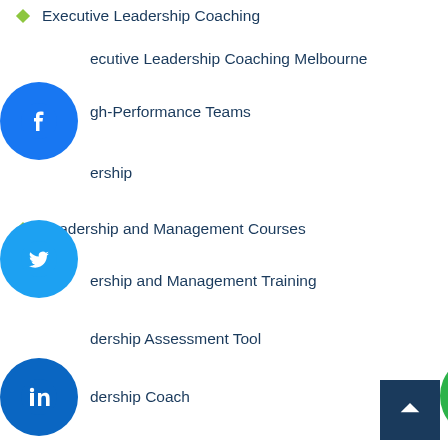Executive Leadership Coaching
Executive Leadership Coaching Melbourne
High-Performance Teams
Leadership
Leadership and Management Courses
Leadership and Management Training
Leadership Assessment Tool
Leadership Coach
Leadership Consulting
Leadership Development
Leadership Profiling
Leadership Programs Melbourne
Leadership Skills Melbourne
Leadership Training